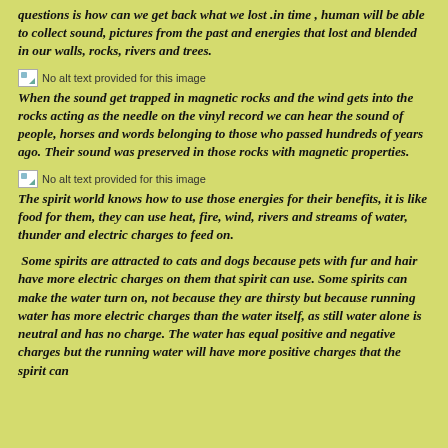questions is how can we get back what we lost .in time , human will be able to collect sound, pictures from the past and energies that lost and blended in our walls, rocks, rivers and trees.
[Figure (other): Small broken image placeholder labeled 'No alt text provided for this image']
When the sound get trapped in magnetic rocks and the wind gets into the rocks acting as the needle on the vinyl record we can hear the sound of people, horses and words belonging to those who passed hundreds of years ago. Their sound was preserved in those rocks with magnetic properties.
[Figure (other): Small broken image placeholder labeled 'No alt text provided for this image']
The spirit world knows how to use those energies for their benefits, it is like food for them, they can use heat, fire, wind, rivers and streams of water, thunder and electric charges to feed on.
Some spirits are attracted to cats and dogs because pets with fur and hair have more electric charges on them that spirit can use. Some spirits can make the water turn on, not because they are thirsty but because running water has more electric charges than the water itself, as still water alone is neutral and has no charge. The water has equal positive and negative charges but the running water will have more positive charges that the spirit can use. That is why when you see a cat staring at a spirit or an area...